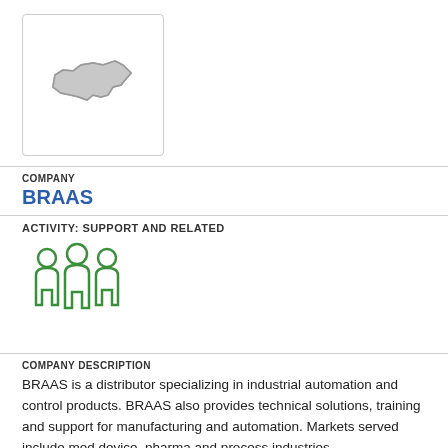[Figure (logo): Company logo placeholder showing a North Carolina state outline inside a square border]
COMPANY
BRAAS
ACTIVITY: SUPPORT AND RELATED
[Figure (illustration): Green icon of three people/figures representing a team or group]
COMPANY DESCRIPTION
BRAAS is a distributor specializing in industrial automation and control products. BRAAS also provides technical solutions, training and support for manufacturing and automation. Markets served include med device, pharma and process industries.
LOCATION
Salisbury